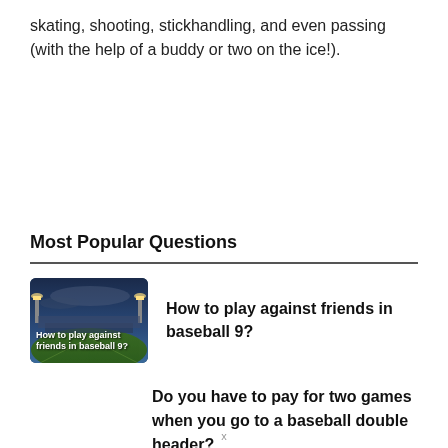skating, shooting, stickhandling, and even passing (with the help of a buddy or two on the ice!).
Most Popular Questions
[Figure (photo): Baseball stadium at night with lights, thumbnail with text overlay 'How to play against friends in baseball 9?']
How to play against friends in baseball 9?
Do you have to pay for two games when you go to a baseball double header?
x